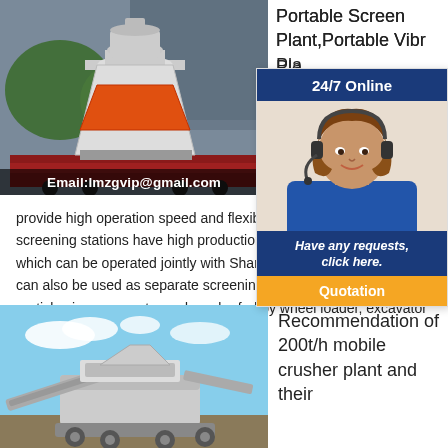[Figure (photo): Industrial cone crusher on a truck flatbed, parked outside a building. Orange/red band on crusher body.]
Email:lmzgvip@gmail.com
Portable Screen Plant,Portable Vibrating Screen Plant
[Figure (infographic): 24/7 Online chat popup with a female customer service agent wearing a headset and blue uniform. Bottom panel reads 'Have any requests, click here.' with a Quotation button.]
2023... Series... Screen...
provide high operation speed and flexibility. Mobile screening stations have high production capacity which can be operated jointly with Shanmei tire type can also be used as separate screening machine particle size aggregate, and can be fed by wheel loader, excavator
[Figure (photo): Mobile crusher plant with blue sky background. Industrial machinery with conveyor and screening equipment.]
Recommendation of 200t/h mobile crusher plant and their